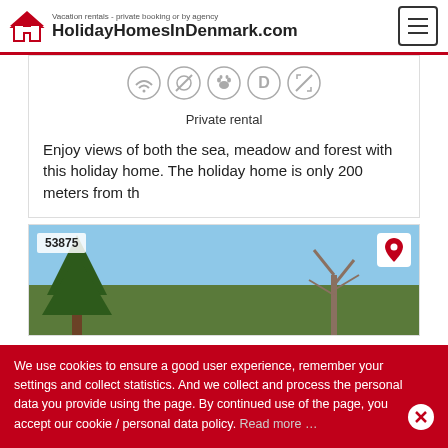HolidayHomesInDenmark.com – Vacation rentals - private booking or by agency
[Figure (infographic): Row of 5 circular amenity icons: WiFi, No smoking, Pets allowed, Dishwasher (D), No something]
Private rental
Enjoy views of both the sea, meadow and forest with this holiday home. The holiday home is only 200 meters from th
[Figure (photo): Photo of a holiday home property number 53875 showing trees against a blue sky, with a location pin button in the top-right corner]
We use cookies to ensure a good user experience, remember your settings and collect statistics. And we collect and process the personal data you provide using the page. By continued use of the page, you accept our cookie / personal data policy. Read more …